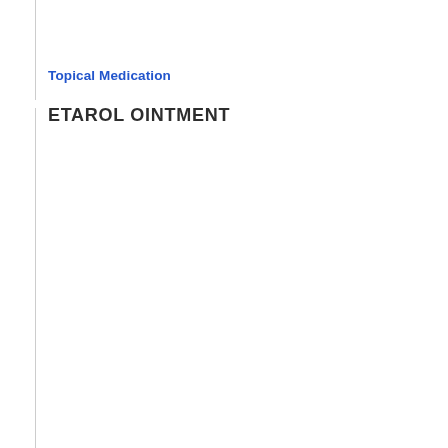Topical Medication
ETAROL OINTMENT